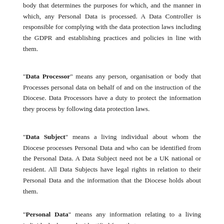body that determines the purposes for which, and the manner in which, any Personal Data is processed. A Data Controller is responsible for complying with the data protection laws including the GDPR and establishing practices and policies in line with them.
"Data Processor" means any person, organisation or body that Processes personal data on behalf of and on the instruction of the Diocese. Data Processors have a duty to protect the information they process by following data protection laws.
"Data Subject" means a living individual about whom the Diocese processes Personal Data and who can be identified from the Personal Data. A Data Subject need not be a UK national or resident. All Data Subjects have legal rights in relation to their Personal Data and the information that the Diocese holds about them.
"Personal Data" means any information relating to a living individual who can be identified from that